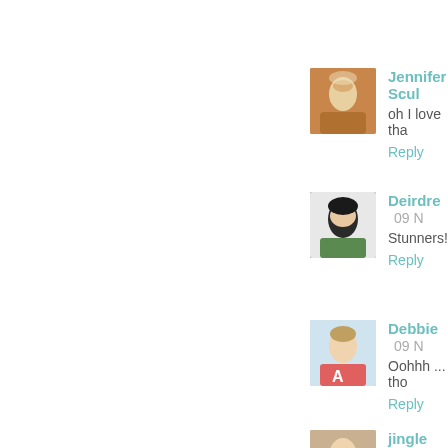Jennifer Scul
oh I love tha
Reply
Deirdre 09 N
stunners!
Reply
Debbie 09 N
Oohhh ... tho
Reply
Jingle 09 No
Is is so fun! Y
Reply